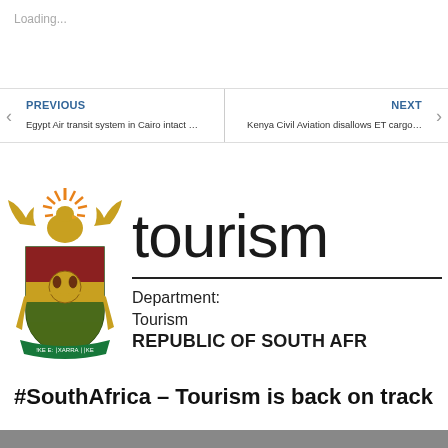Loading...
PREVIOUS
Egypt Air transit system in Cairo intact …
NEXT
Kenya Civil Aviation disallows ET cargo…
[Figure (logo): South Africa Department of Tourism logo — national coat of arms crest on the left, with the word 'tourism' in large lowercase text, a horizontal divider, then 'Department: Tourism' and 'REPUBLIC OF SOUTH AFR' in bold beneath it.]
#SouthAfrica – Tourism is back on track